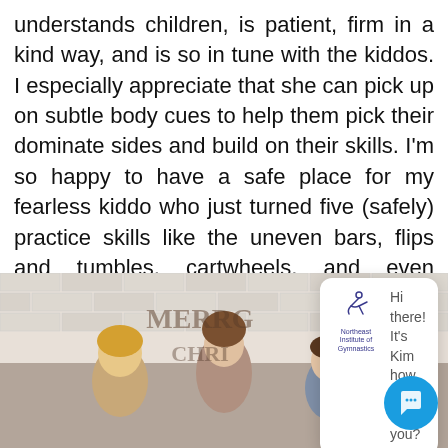understands children, is patient, firm in a kind way, and is so in tune with the kiddos. I especially appreciate that she can pick up on subtle body cues to help them pick their dominate sides and build on their skills. I'm so happy to have a safe place for my fearless kiddo who just turned five (safely) practice skills like the uneven bars, flips and tumbles, cartwheels, and even handstands. It is an excellen[close]nd welcoming p
[Figure (screenshot): Chat widget popup with Northeast Institute of Gymnastics logo and message: Hi there! It's Kim how can I help you?]
[Figure (photo): Three smiling children (two girls and a boy) posed in front of a white brick wall with Christmas decorations]